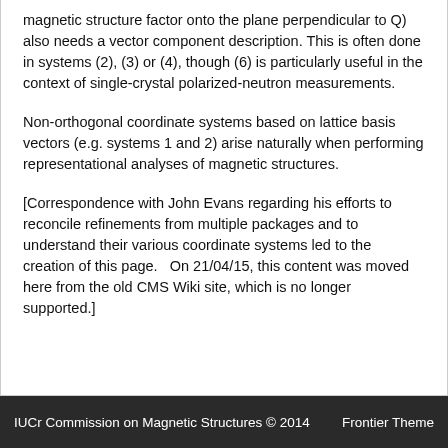magnetic structure factor onto the plane perpendicular to Q) also needs a vector component description. This is often done in systems (2), (3) or (4), though (6) is particularly useful in the context of single-crystal polarized-neutron measurements.
Non-orthogonal coordinate systems based on lattice basis vectors (e.g. systems 1 and 2) arise naturally when performing representational analyses of magnetic structures.
[Correspondence with John Evans regarding his efforts to reconcile refinements from multiple packages and to understand their various coordinate systems led to the creation of this page.   On 21/04/15, this content was moved here from the old CMS Wiki site, which is no longer supported.]
IUCr Commission on Magnetic Structures © 2014    Frontier Theme